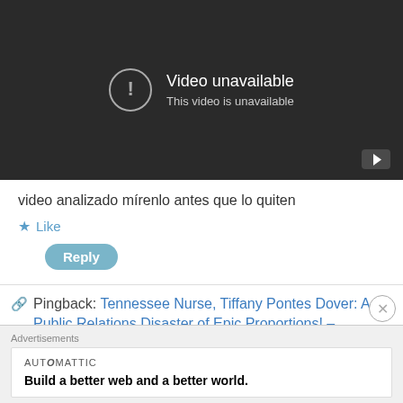[Figure (screenshot): YouTube video player showing 'Video unavailable' error message with exclamation icon and YouTube play button in bottom right]
video analizado mírenlo antes que lo quiten
★ Like
Reply
Pingback: Tennessee Nurse, Tiffany Pontes Dover: A Public Relations Disaster of Epic Proportions! –
Advertisements
AUTOMATTIC
Build a better web and a better world.